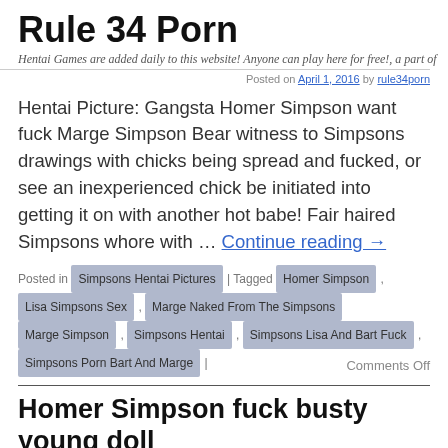Rule 34 Porn
Hentai Games are added daily to this website! Anyone can play here for free!, a part of
Posted on April 1, 2016 by rule34porn
Hentai Picture: Gangsta Homer Simpson want fuck Marge Simpson Bear witness to Simpsons drawings with chicks being spread and fucked, or see an inexperienced chick be initiated into getting it on with another hot babe! Fair haired Simpsons whore with … Continue reading →
Posted in Simpsons Hentai Pictures | Tagged Homer Simpson , Lisa Simpsons Sex , Marge Naked From The Simpsons , Marge Simpson , Simpsons Hentai , Simpsons Lisa And Bart Fuck , Simpsons Porn Bart And Marge | Comments Off
Homer Simpson fuck busty young doll
Posted on March 28, 2016 by rule34porn
Hentai Picture: Homer Simpson fuck busty young doll This is an amazing Simpsons site catering to long time viewers as well as newcomers. Hot Homer Simpson exposes her